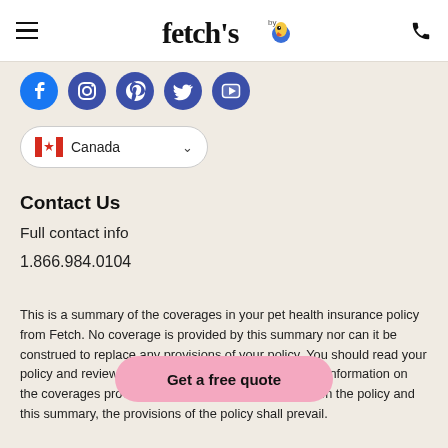fetch's [logo with parrot icon]
[Figure (logo): Fetch by The Dodo pet insurance logo with parrot mascot and phone icon]
[Figure (infographic): Social media icons row: Facebook, Instagram, Pinterest, Twitter, YouTube]
[Figure (infographic): Canada country selector dropdown with Canadian flag]
Contact Us
Full contact info
1.866.984.0104
This is a summary of the coverages in your pet health insurance policy from Fetch. No coverage is provided by this summary nor can it be construed to replace any provisions of your policy. You should read your policy and review your policy documents for complete information on the coverages provided. If there is any conflict between the policy and this summary, the provisions of the policy shall prevail.
[Figure (other): Get a free quote pink CTA button overlay]